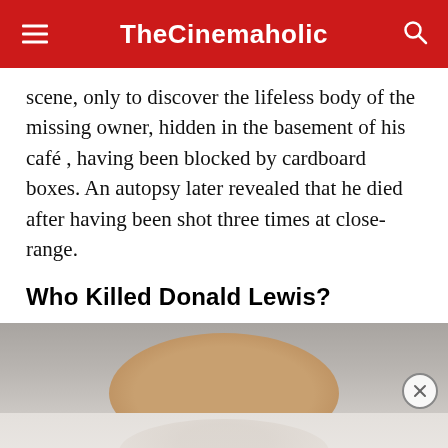TheCinemaholic
scene, only to discover the lifeless body of the missing owner, hidden in the basement of his café , having been blocked by cardboard boxes. An autopsy later revealed that he died after having been shot three times at close-range.
Who Killed Donald Lewis?
[Figure (photo): Partial mugshot or portrait photograph of a person, cropped at the forehead level; upper portion shows the top of a bald head against a grey background, lower portion shows a faint reflection or lower face area on a lighter background. A close/dismiss button appears at the right side.]